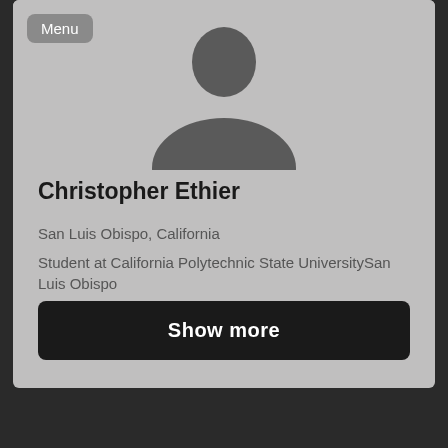[Figure (photo): Profile photo placeholder showing a dark silhouette of a person on a grey background]
Christopher Ethier
San Luis Obispo, California
Student at California Polytechnic State UniversitySan Luis Obispo
Civil Engineering
Show more